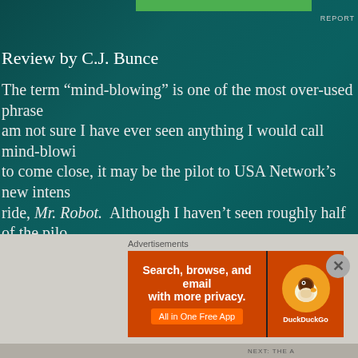REPORT
Review by C.J. Bunce
The term “mind-blowing” is one of the most over-used phrases. I am not sure I have ever seen anything I would call mind-blowing. If anything is to come close, it may be the pilot to USA Network’s new intense techno-thriller-ride, Mr. Robot. Although I haven’t seen roughly half of the pilots hitting the small screen this summer, of what I’ve seen this will be number one. That’s saying a lot considering the eight other new sci-fi series I reviewed for borg.com this past week: CW Network’s Stitchers, ABC’s The Whispers, Dark Matter, and The Expanse, TNT’s Proof, AMC’s Humans, and Netflix’s Sense8 forget about BBC America’s Orphan Black, CW’s iZombie, and Fox’s ongoing series already airing. Never before have viewers had more new sci-fi series to choose from.
[Figure (screenshot): DuckDuckGo advertisement banner with orange background, text 'Search, browse, and email with more privacy. All in One Free App' and DuckDuckGo duck logo]